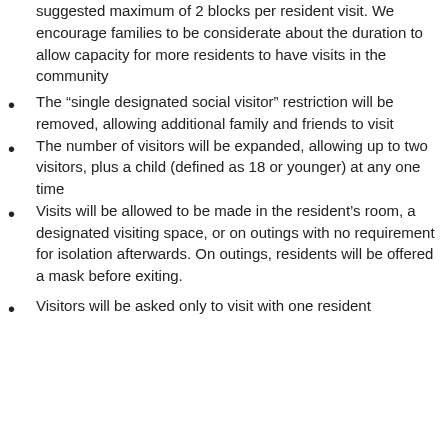suggested maximum of 2 blocks per resident visit. We encourage families to be considerate about the duration to allow capacity for more residents to have visits in the community
The “single designated social visitor” restriction will be removed, allowing additional family and friends to visit
The number of visitors will be expanded, allowing up to two visitors, plus a child (defined as 18 or younger) at any one time
Visits will be allowed to be made in the resident’s room, a designated visiting space, or on outings with no requirement for isolation afterwards. On outings, residents will be offered a mask before exiting.
Visitors will be asked only to visit with one resident